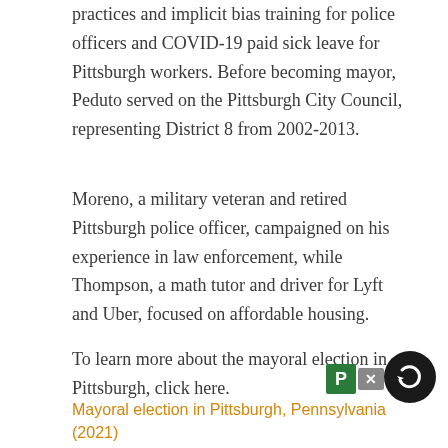practices and implicit bias training for police officers and COVID-19 paid sick leave for Pittsburgh workers. Before becoming mayor, Peduto served on the Pittsburgh City Council, representing District 8 from 2002-2013.
Moreno, a military veteran and retired Pittsburgh police officer, campaigned on his experience in law enforcement, while Thompson, a math tutor and driver for Lyft and Uber, focused on affordable housing.
To learn more about the mayoral election in Pittsburgh, click here.
[Figure (other): Perplexity AI badge with green P icon, X close button, and dark circular refresh/back button]
Mayoral election in Pittsburgh, Pennsylvania (2021)